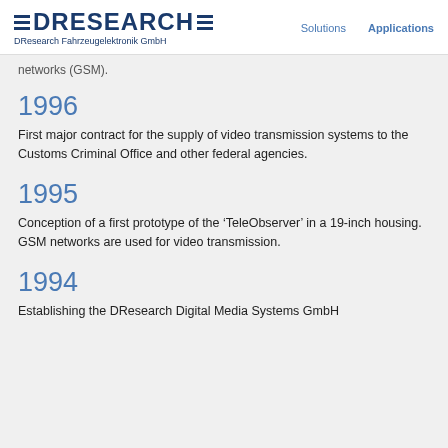DResearch Fahrzeugelektronik GmbH | Solutions | Applications
networks (GSM).
1996
First major contract for the supply of video transmission systems to the Customs Criminal Office and other federal agencies.
1995
Conception of a first prototype of the ‘TeleObserver’ in a 19-inch housing. GSM networks are used for video transmission.
1994
Establishing the DResearch Digital Media Systems GmbH